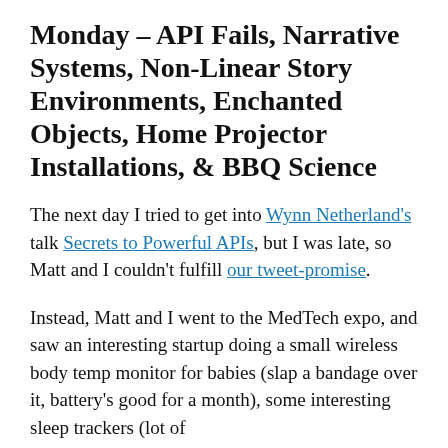Monday – API Fails, Narrative Systems, Non-Linear Story Environments, Enchanted Objects, Home Projector Installations, & BBQ Science
The next day I tried to get into Wynn Netherland's talk Secrets to Powerful APIs, but I was late, so Matt and I couldn't fulfill our tweet-promise.
Instead, Matt and I went to the MedTech expo, and saw an interesting startup doing a small wireless body temp monitor for babies (slap a bandage over it, battery's good for a month), some interesting sleep trackers (lot of